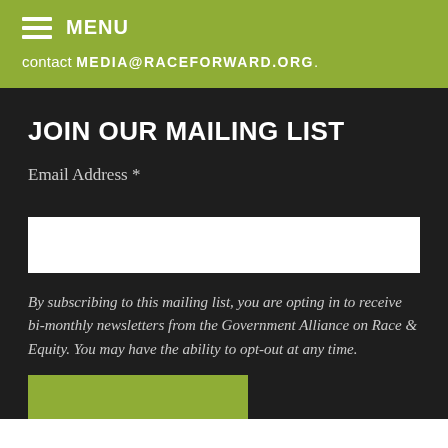MENU
contact MEDIA@RACEFORWARD.ORG.
JOIN OUR MAILING LIST
Email Address *
By subscribing to this mailing list, you are opting in to receive bi-monthly newsletters from the Government Alliance on Race & Equity. You may have the ability to opt-out at any time.